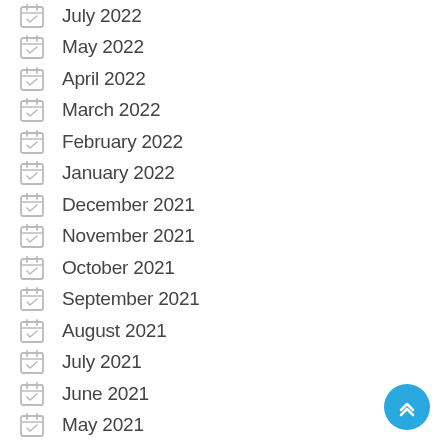July 2022
May 2022
April 2022
March 2022
February 2022
January 2022
December 2021
November 2021
October 2021
September 2021
August 2021
July 2021
June 2021
May 2021